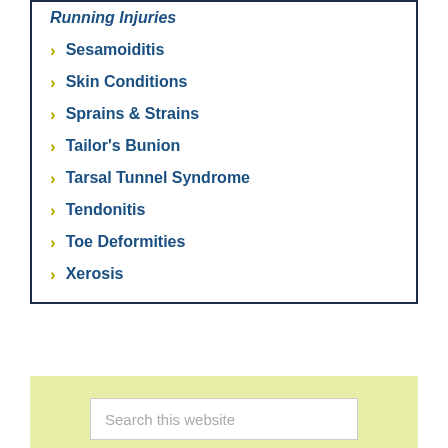Running Injuries
Sesamoiditis
Skin Conditions
Sprains & Strains
Tailor's Bunion
Tarsal Tunnel Syndrome
Tendonitis
Toe Deformities
Xerosis
Search this website